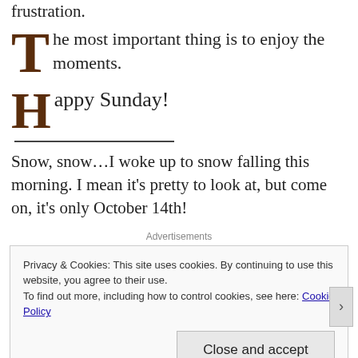frustration.
The most important thing is to enjoy the moments.
Happy Sunday!
Snow, snow…I woke up to snow falling this morning. I mean it's pretty to look at, but come on, it's only October 14th!
Advertisements
Privacy & Cookies: This site uses cookies. By continuing to use this website, you agree to their use.
To find out more, including how to control cookies, see here: Cookie Policy
Close and accept